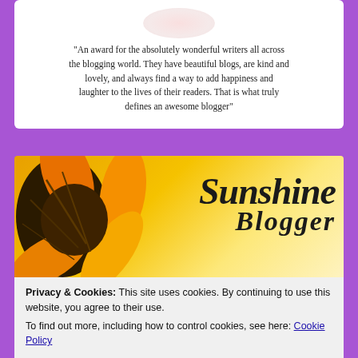[Figure (illustration): Partial pink circular logo/badge at top, cropped]
"An award for the absolutely wonderful writers all across the blogging world. They have beautiful blogs, are kind and lovely, and always find a way to add happiness and laughter to the lives of their readers. That is what truly defines an awesome blogger"
[Figure (illustration): Sunshine Blogger award banner image with a sunflower on the left and the text 'Sunshine Blogger' in italic serif font on a yellow/golden gradient background]
Privacy & Cookies: This site uses cookies. By continuing to use this website, you agree to their use.
To find out more, including how to control cookies, see here: Cookie Policy
Close and accept